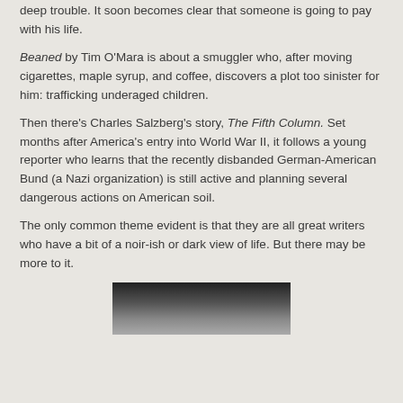deep trouble. It soon becomes clear that someone is going to pay with his life.
Beaned by Tim O’Mara is about a smuggler who, after moving cigarettes, maple syrup, and coffee, discovers a plot too sinister for him: trafficking underaged children.
Then there’s Charles Salzberg’s story, The Fifth Column. Set months after America’s entry into World War II, it follows a young reporter who learns that the recently disbanded German-American Bund (a Nazi organization) is still active and planning several dangerous actions on American soil.
The only common theme evident is that they are all great writers who have a bit of a noir-ish or dark view of life. But there may be more to it.
[Figure (photo): Partial photo of a person, cropped at bottom of page]